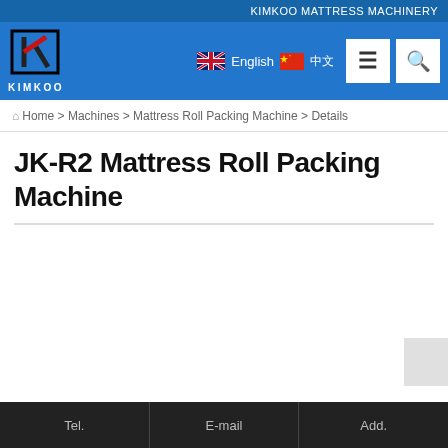KIMKOO MATTRESS MACHINERY
[Figure (logo): KIMKOO logo with stylized K icon in red and black on blue background, with text KIMKOO below]
English  中文
Home > Machines > Mattress Roll Packing Machine > Details
JK-R2 Mattress Roll Packing Machine
Tel.   E-mail   Add.